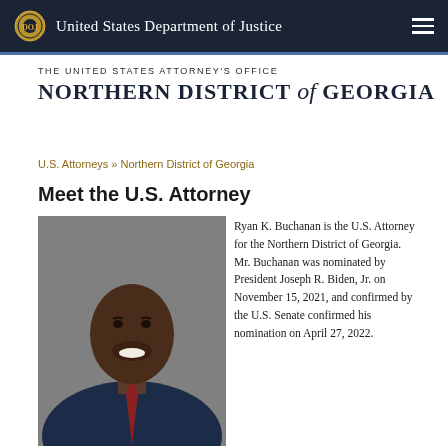United States Department of Justice
THE UNITED STATES ATTORNEY'S OFFICE
NORTHERN DISTRICT of GEORGIA
U.S. Attorneys » Northern District of Georgia
Meet the U.S. Attorney
[Figure (photo): Official portrait photo of Ryan K. Buchanan, U.S. Attorney for the Northern District of Georgia, smiling in a dark suit with a patterned tie, against a gray background.]
Ryan K. Buchanan is the U.S. Attorney for the Northern District of Georgia.  Mr. Buchanan was nominated by President Joseph R. Biden, Jr. on November 15, 2021, and confirmed by the U.S. Senate confirmed his nomination on April 27, 2022.